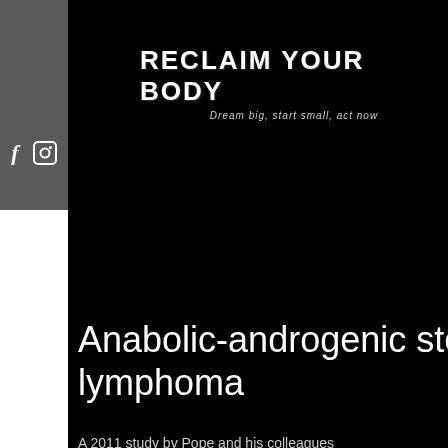RECLAIM YOUR BODY — Dream big, start small, act now
Anabolic-androgenic steroids lymphoma
A 2011 study by Pope and his colleagues